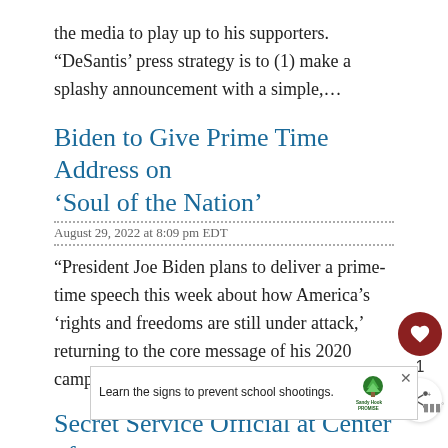the media to play up to his supporters. “DeSantis’ press strategy is to (1) make a splashy announcement with a simple,…
Biden to Give Prime Time Address on ‘Soul of the Nation’
August 29, 2022 at 8:09 pm EDT
“President Joe Biden plans to deliver a prime-time speech this week about how America’s ‘rights and freedoms are still under attack,’ returning to the core message of his 2020 campaign…
Secret Service Official at Center of Probe Retires
[Figure (other): Sandy Hook Promise advertisement banner: Learn the signs to prevent school shootings.]